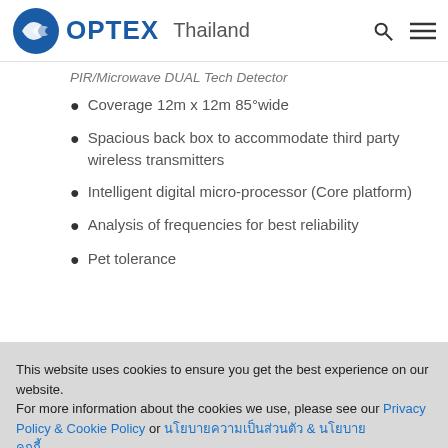OPTEX Thailand
PIR/Microwave DUAL Tech Detector
Coverage 12m x 12m 85°wide
Spacious back box to accommodate third party wireless transmitters
Intelligent digital micro-processor (Core platform)
Analysis of frequencies for best reliability
Pet tolerance
This website uses cookies to ensure you get the best experience on our website.
For more information about the cookies we use, please see our Privacy Policy & Cookie Policy or นโยบายความเป็นส่วนตัว & นโยบายคุกกี้.
ACCEPT